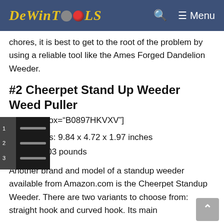DeWinTools — site navigation header with logo and menu
chores, it is best to get to the root of the problem by using a reliable tool like the Ames Forged Dandelion Weeder.
#2 Cheerpet Stand Up Weeder Weed Puller
[amazon box="B0897HKVXV"]
Dimensions: 9.84 x 4.72 x 1.97 inches
Weight: 1.03 pounds
Another brand and model of a standup weeder available from Amazon.com is the Cheerpet Standup Weeder. There are two variants to choose from: straight hook and curved hook. Its main